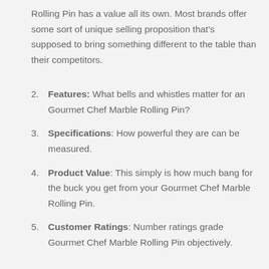Rolling Pin has a value all its own. Most brands offer some sort of unique selling proposition that's supposed to bring something different to the table than their competitors.
Features: What bells and whistles matter for an Gourmet Chef Marble Rolling Pin?
Specifications: How powerful they are can be measured.
Product Value: This simply is how much bang for the buck you get from your Gourmet Chef Marble Rolling Pin.
Customer Ratings: Number ratings grade Gourmet Chef Marble Rolling Pin objectively.